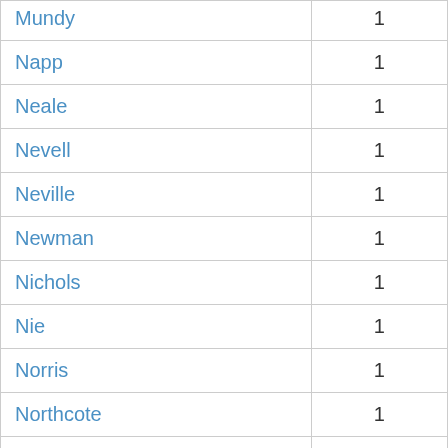| Name | Count |
| --- | --- |
| Mundy | 1 |
| Napp | 1 |
| Neale | 1 |
| Nevell | 1 |
| Neville | 1 |
| Newman | 1 |
| Nichols | 1 |
| Nie | 1 |
| Norris | 1 |
| Northcote | 1 |
| Ostrosky | 1 |
| Oxenham | 1 |
| Parker | 1 |
| Pasco | 1 |